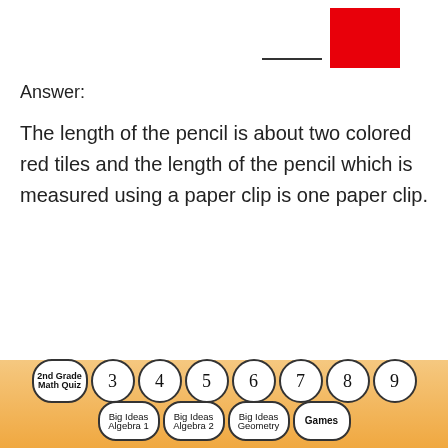[Figure (illustration): A red square tile shown at top right with a pencil line/underscore below and to the left of it]
Answer:
The length of the pencil is about two colored red tiles and the length of the pencil which is measured using a paper clip is one paper clip.
2nd Grade Math Quiz  3  4  5  6  7  8  9  Big Ideas Algebra 1  Big Ideas Algebra 2  Big Ideas Geometry  Games